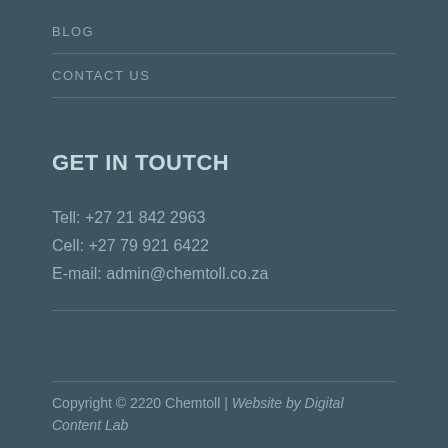BLOG
CONTACT US
GET IN TOUTCH
Tell: +27 21 842 2963
Cell: +27 79 921 6422
E-mail: admin@chemtoll.co.za
Copyright © 2220 Chemtoll | Website by Digital Content Lab